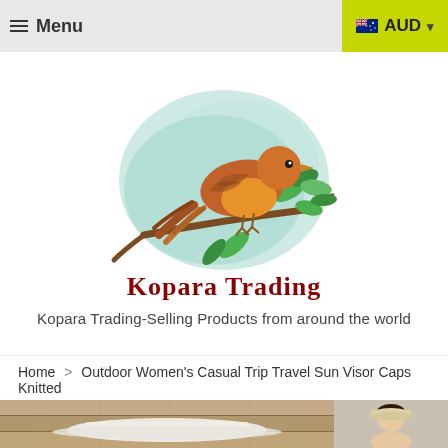≡ Menu | AUD
[Figure (logo): Kopara Trading logo with a brown bird perched on a branch with green leaves, watercolor style, with text 'Kopara Trading' in dark red serif font below]
Kopara Trading-Selling Products from around the world
Home > Outdoor Women's Casual Trip Travel Sun Visor Caps Knitted
[Figure (photo): Product photos showing outdoor sun visor caps - main image of cap laid flat on wooden surface, thumbnail of woman wearing a beige cap]